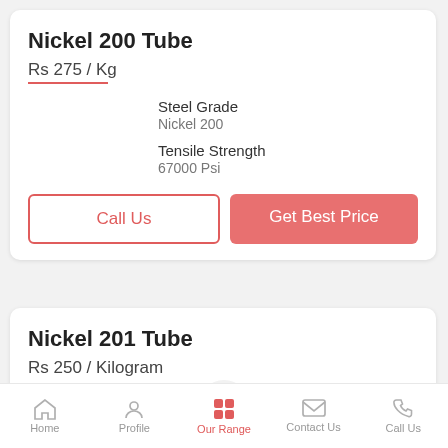Nickel 200 Tube
Rs 275 / Kg
Steel Grade
Nickel 200
Tensile Strength
67000 Psi
Call Us
Get Best Price
Nickel 201 Tube
Rs 250 / Kilogram
Home | Profile | Our Range | Contact Us | Call Us